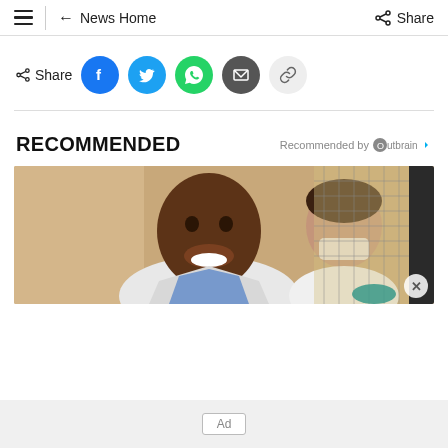≡  ← News Home    ⋖ Share
[Figure (screenshot): Share row with social media buttons: Facebook (blue), Twitter (light blue), WhatsApp (green), Email (dark gray), Link (light gray)]
RECOMMENDED
Recommended by Outbrain
[Figure (photo): A smiling man in a white medical coat in the foreground, a woman in white medical attire with mask lowered visible in the background, in a medical setting]
Ad